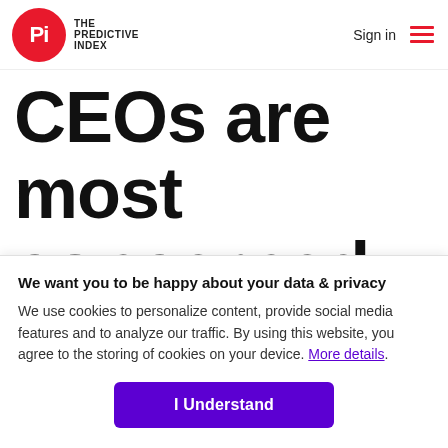The Predictive Index — Sign in
CEOs are most concerned about
We want you to be happy about your data & privacy
We use cookies to personalize content, provide social media features and to analyze our traffic. By using this website, you agree to the storing of cookies on your device. More details.